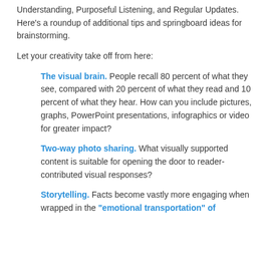Understanding, Purposeful Listening, and Regular Updates. Here's a roundup of additional tips and springboard ideas for brainstorming.
Let your creativity take off from here:
The visual brain. People recall 80 percent of what they see, compared with 20 percent of what they read and 10 percent of what they hear. How can you include pictures, graphs, PowerPoint presentations, infographics or video for greater impact?
Two-way photo sharing. What visually supported content is suitable for opening the door to reader-contributed visual responses?
Storytelling. Facts become vastly more engaging when wrapped in the “emotional transportation” of